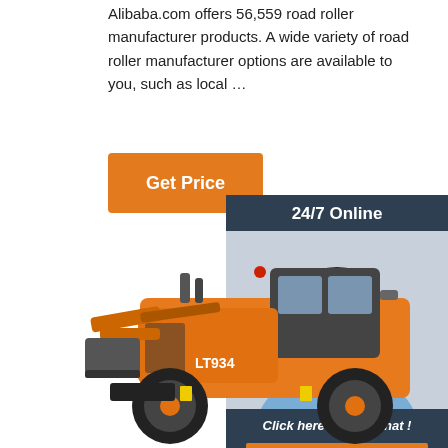Alibaba.com offers 56,559 road roller manufacturer products. A wide variety of road roller manufacturer options are available to you, such as local …
Get Price
[Figure (photo): Customer service representative woman with headset smiling, with '24/7 Online' header and 'Click here for free chat!' and 'QUOTATION' button on dark blue background panel]
[Figure (photo): Orange LT934 wheel loader construction machine on white background]